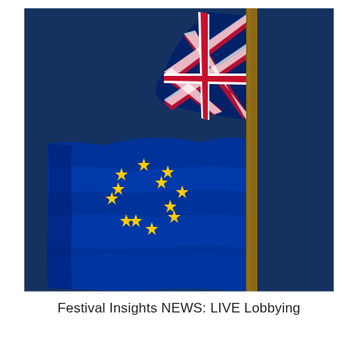[Figure (photo): Photograph of UK Union Jack flag and EU blue flag with yellow stars flying on a flagpole against a deep blue sky background.]
Festival Insights NEWS: LIVE Lobbying